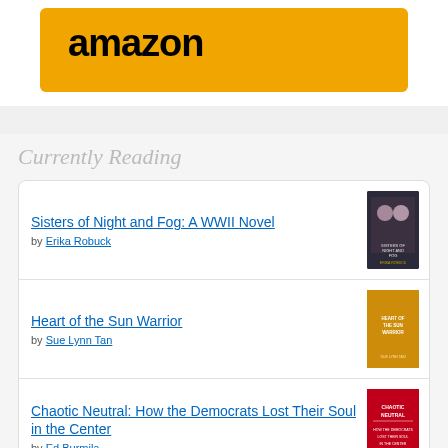[Figure (logo): Amazon Wishlist logo banner with orange background, black Amazon text with arrow, and orange wishlist text on white]
Currently Reading
Sisters of Night and Fog: A WWII Novel by Erika Robuck
Heart of the Sun Warrior by Sue Lynn Tan
Chaotic Neutral: How the Democrats Lost Their Soul in the Center by Ed Burmila